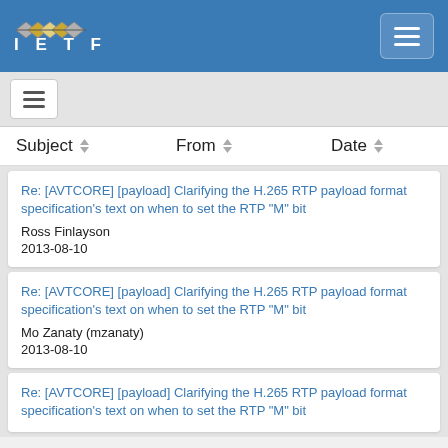IETF
Re: [AVTCORE] [payload] Clarifying the H.265 RTP payload format specification's text on when to set the RTP "M" bit
Ross Finlayson
2013-08-10
Re: [AVTCORE] [payload] Clarifying the H.265 RTP payload format specification's text on when to set the RTP "M" bit
Mo Zanaty (mzanaty)
2013-08-10
Re: [AVTCORE] [payload] Clarifying the H.265 RTP payload format specification's text on when to set the RTP "M" bit